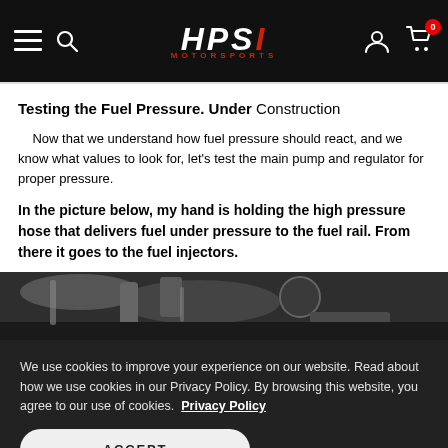HPSI MOTORSPORTS
Testing the Fuel Pressure. Under Construction
Now that we understand how fuel pressure should react, and we know what values to look for, let's test the main pump and regulator for proper pressure.
In the picture below, my hand is holding the high pressure hose that delivers fuel under pressure to the fuel rail. From there it goes to the fuel injectors.
[Figure (photo): Partial view of engine/fuel system with hose visible]
We use cookies to improve your experience on our website. Read about how we use cookies in our Privacy Policy. By browsing this website, you agree to our use of cookies. Privacy Policy
ACCEPT